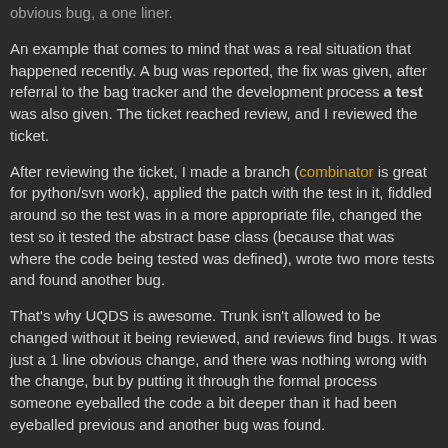obvious bug, a one liner.
An example that comes to mind that was a real situation that happened recently. A bug was reported, the fix was given, after referral to the bag tracker and the development process a test was also given. The ticket reached review, and I reviewed the ticket.
After reviewing the ticket, I made a branch (combinator is great for python/svn work), applied the patch with the test in it, fiddled around so the test was in a more appropriate file, changed the test so it tested the abstract base class (because that was where the code being tested was defined), wrote two more tests and found another bug.
That's why UQDS is awesome. Trunk isn't allowed to be changed without it being reviewed, and reviews find bugs. It was just a 1 line obvious change, and there was nothing wrong with the change, but by putting it through the formal process someone eyeballed the code a bit deeper than it had been eyeballed previous and another bug was found.
The idea is to never let code into trunk that hasn't been